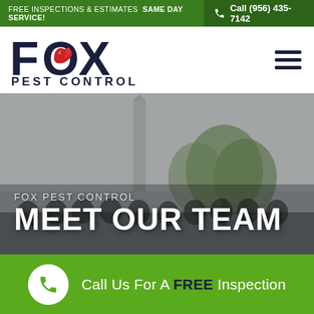FREE INSPECTIONS & ESTIMATES  SAME DAY SERVICE!  Call (956) 435-7142
[Figure (logo): Fox Pest Control logo with stylized FOX text and flame/feather icon inside the O letter, above the words PEST CONTROL]
[Figure (photo): Group photo of Fox Pest Control team members in uniforms and caps standing outdoors with trees and a tall structure in the background, with overlay text FOX PEST CONTROL and MEET OUR TEAM]
FOX PEST CONTROL
MEET OUR TEAM
Call Us For A FREE Inspection